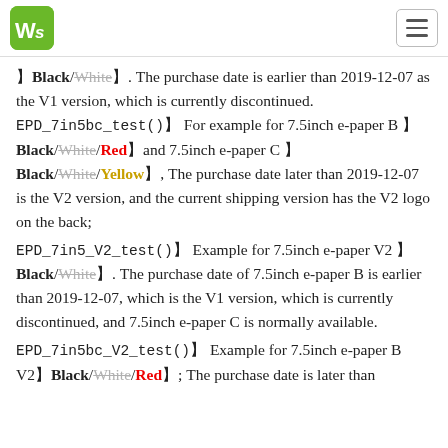WS logo and navigation
【Black/White】. The purchase date is earlier than 2019-12-07 as the V1 version, which is currently discontinued. EPD_7in5bc_test()】For example for 7.5inch e-paper B 【Black/White/Red】and 7.5inch e-paper C 【Black/White/Yellow】, The purchase date later than 2019-12-07 is the V2 version, and the current shipping version has the V2 logo on the back;
EPD_7in5_V2_test()】Example for 7.5inch e-paper V2 【Black/White】. The purchase date of 7.5inch e-paper B is earlier than 2019-12-07, which is the V1 version, which is currently discontinued, and 7.5inch e-paper C is normally available.
EPD_7in5bc_V2_test()】Example for 7.5inch e-paper B V2【Black/White/Red】; The purchase date is later than